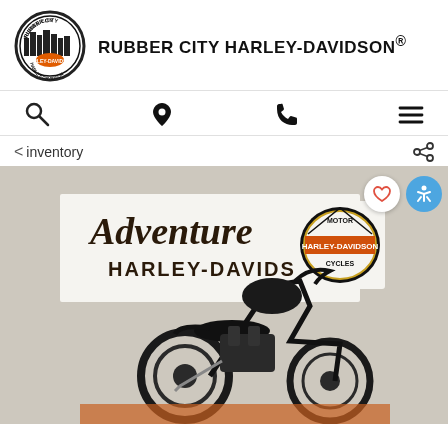[Figure (logo): Rubber City Harley-Davidson circular logo with skyline and Harley-Davidson branding]
RUBBER CITY HARLEY-DAVIDSON®
[Figure (infographic): Navigation icons: search, location pin, phone, hamburger menu]
< inventory
[Figure (photo): Harley-Davidson motorcycle (black Iron 883 style) parked indoors in front of Adventure Harley-Davidson signage with the Motor Cycles Harley-Davidson badge logo on wall]